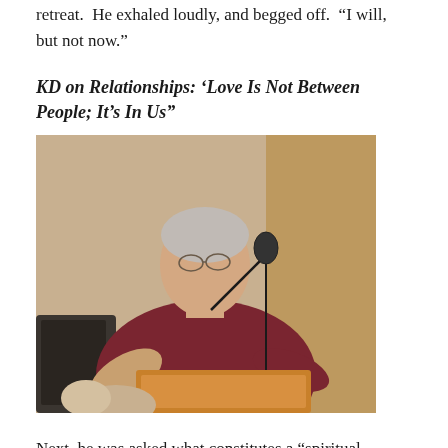retreat.  He exhaled loudly, and begged off.  "I will, but not now."
KD on Relationships: ‘Love Is Not Between People; It’s In Us”
[Figure (photo): A man in a dark red t-shirt speaking into a microphone on a stand, gesturing with his hands, appearing to be at an indoor event with an instrument in front of him and curtains in the background.]
Next, he was asked what constitutes a “spiritual marriage?” “It’s so horrible everything else looks good?”  KD replied playfully.  Then he said he had no idea what that meant. “That’s